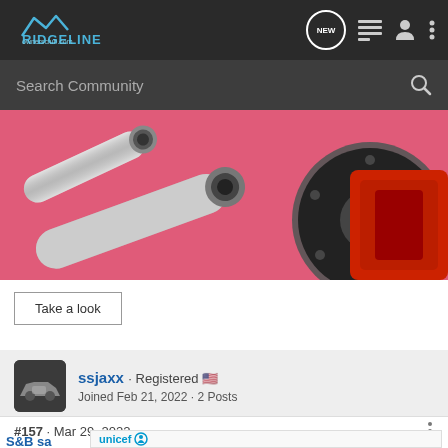Ridgeline Ownersclub.com
Search Community
[Figure (photo): Car parts banner with chrome exhaust pipes and red Brembo brake caliper on pink background]
Take a look
ssjaxx · Registered
Joined Feb 21, 2022 · 2 Posts
#157 · Mar 29, 2022